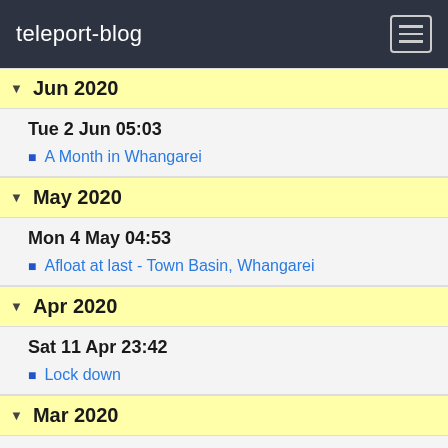teleport-blog
Jun 2020
Tue 2 Jun 05:03
A Month in Whangarei
May 2020
Mon 4 May 04:53
Afloat at last - Town Basin, Whangarei
Apr 2020
Sat 11 Apr 23:42
Lock down
Mar 2020
Sun 22 Mar 07:11
A month in the boatyard
Feb 2020
Wed 19 Feb 08:10